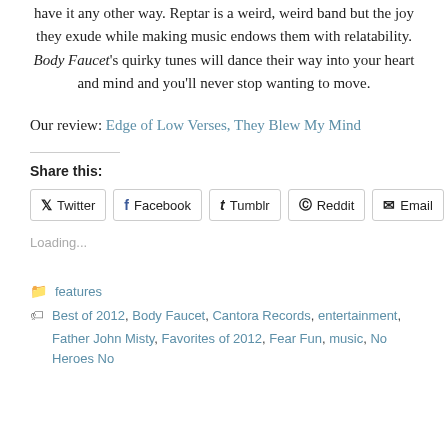have it any other way. Reptar is a weird, weird band but the joy they exude while making music endows them with relatability. Body Faucet's quirky tunes will dance their way into your heart and mind and you'll never stop wanting to move.
Our review: Edge of Low Verses, They Blew My Mind
Share this:
Twitter Facebook Tumblr Reddit Email
Loading...
features
Best of 2012, Body Faucet, Cantora Records, entertainment,
Father John Misty, Favorites of 2012, Fear Fun, music, No Heroes No